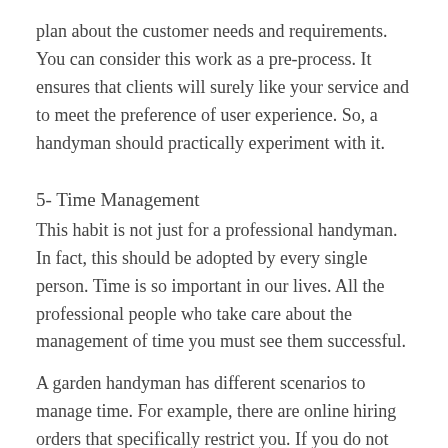plan about the customer needs and requirements. You can consider this work as a pre-process. It ensures that clients will surely like your service and to meet the preference of user experience. So, a handyman should practically experiment with it.
5- Time Management
This habit is not just for a professional handyman. In fact, this should be adopted by every single person. Time is so important in our lives. All the professional people who take care about the management of time you must see them successful.
A garden handyman has different scenarios to manage time. For example, there are online hiring orders that specifically restrict you. If you do not deal with them timely, the order will be canceled.